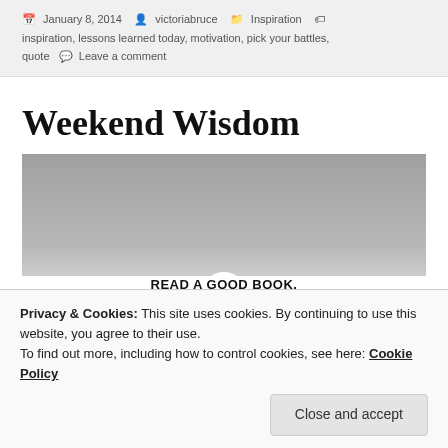January 8, 2014  victoriabruce  Inspiration  inspiration, lessons learned today, motivation, pick your battles, quote  Leave a comment
Weekend Wisdom
[Figure (photo): Grayscale photo partially visible, showing a white figure peeking from the bottom center, with bold text at the very bottom beginning 'READ A GOOD BOOK. TAKE ONE SMALL STEP.']
Privacy & Cookies: This site uses cookies. By continuing to use this website, you agree to their use.
To find out more, including how to control cookies, see here: Cookie Policy
Close and accept